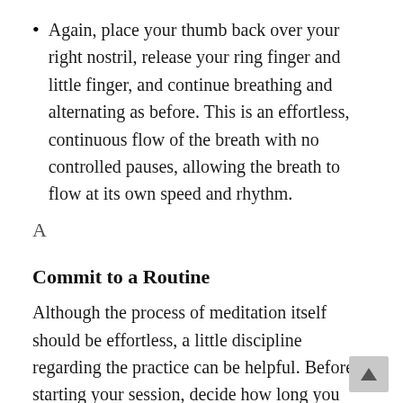Again, place your thumb back over your right nostril, release your ring finger and little finger, and continue breathing and alternating as before. This is an effortless, continuous flow of the breath with no controlled pauses, allowing the breath to flow at its own speed and rhythm.
A
Commit to a Routine
Although the process of meditation itself should be effortless, a little discipline regarding the practice can be helpful. Before starting your session, decide how long you intend to meditate for and commit to sticking with that time no matter what your experiences